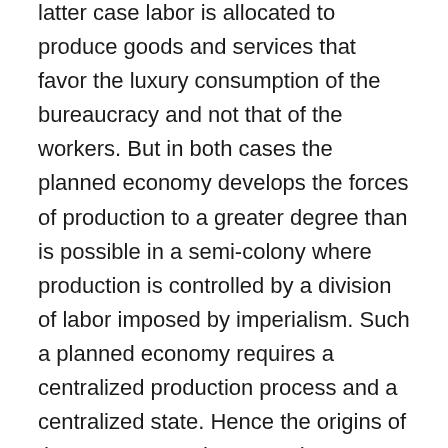latter case labor is allocated to produce goods and services that favor the luxury consumption of the bureaucracy and not that of the workers. But in both cases the planned economy develops the forces of production to a greater degree than is possible in a semi-colony where production is controlled by a division of labor imposed by imperialism. Such a planned economy requires a centralized production process and a centralized state. Hence the origins of the strong central state and state owned enterprises (SEOs) in the DWSs.
As I argued in the earlier post, China's revolution in 1949 was a national revolution that was led by Stalinist army of peasants in isolation of the working class that was forced to go on to become a socialist revolution because the weak national bourgeoisie was aligned with imperialism